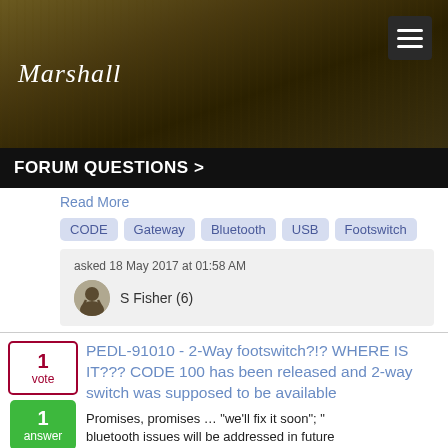Marshall — Forum Questions
FORUM QUESTIONS >
Read More
CODE
Gateway
Bluetooth
USB
Footswitch
asked 18 May 2017 at 01:58 AM
S Fisher (6)
PEDL-91010 - 2-Way footswitch?!? WHERE IS IT??? CODE 100 has been released and 2-way switch was supposed to be available
Promises, promises … "we'll fix it soon";  "bluetooth issues will be addressed in future